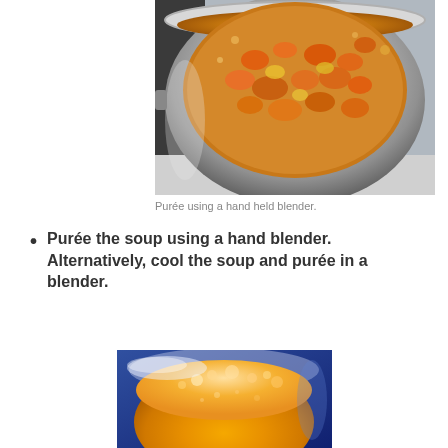[Figure (photo): Overhead view of a stainless steel pot on a stove containing chunked vegetables (carrots, onions) simmering in orange/yellow broth]
Purée using a hand held blender.
Purée the soup using a hand blender. Alternatively, cool the soup and purée in a blender.
[Figure (photo): Close-up view of bright orange pureed soup in a blender container, smooth and frothy at the surface]